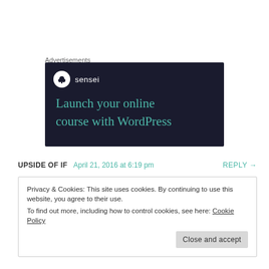Advertisements
[Figure (illustration): Sensei advertisement banner with dark navy background. Shows the Sensei logo (white circle with a bonsai tree icon) and the text 'sensei' in white, followed by the headline 'Launch your online course with WordPress' in teal/green color.]
UPSIDE OF IF   April 21, 2016 at 6:19 pm   REPLY →
Privacy & Cookies: This site uses cookies. By continuing to use this website, you agree to their use.
To find out more, including how to control cookies, see here: Cookie Policy
Close and accept